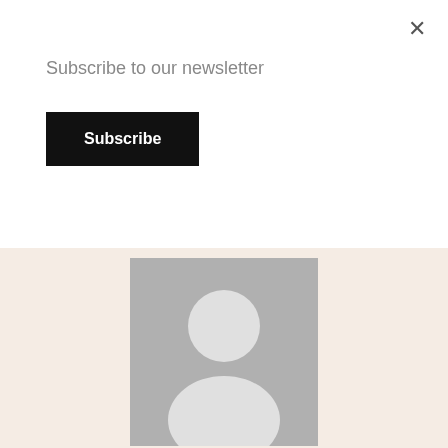Subscribe to our newsletter
Subscribe
×
[Figure (illustration): Grey placeholder avatar image showing a silhouette of a person (head and shoulders) on a grey background.]
Mian Abrar
The writer heads Pakistan Today's Islamabad Bureau. He has a special focus on counter-terrorism and inter-state relations in Asia, Asia Pacific and South East Asia regions. He can be reached at hussainmian@gmail.com